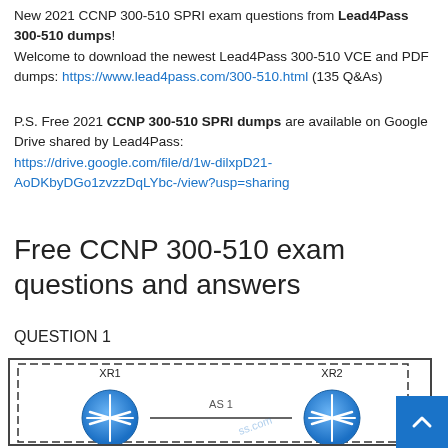New 2021 CCNP 300-510 SPRI exam questions from Lead4Pass 300-510 dumps! Welcome to download the newest Lead4Pass 300-510 VCE and PDF dumps: https://www.lead4pass.com/300-510.html (135 Q&As)
P.S. Free 2021 CCNP 300-510 SPRI dumps are available on Google Drive shared by Lead4Pass: https://drive.google.com/file/d/1w-dilxpD21-AoDKbyDGo1zvzzDqLYbc-/view?usp=sharing
Free CCNP 300-510 exam questions and answers
QUESTION 1
[Figure (network-graph): Network diagram showing two routers XR1 and XR2 connected within AS 1, enclosed in a dashed rectangle border. Both routers are depicted as blue circular router icons connected by a horizontal line.]